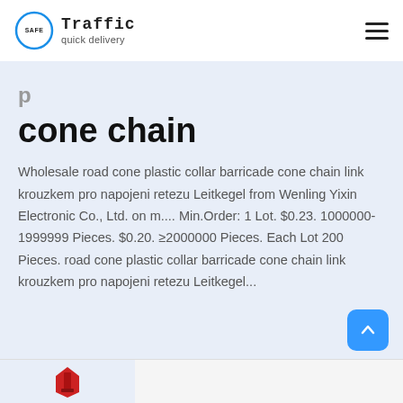[Figure (logo): Safe Traffic quick delivery logo with blue circle and text]
cone chain
Wholesale road cone plastic collar barricade cone chain link krouzkem pro napojeni retezu Leitkegel from Wenling Yixin Electronic Co., Ltd. on m.... Min.Order: 1 Lot. $0.23. 1000000-1999999 Pieces. $0.20. ≥2000000 Pieces. Each Lot 200 Pieces. road cone plastic collar barricade cone chain link krouzkem pro napojeni retezu Leitkegel...